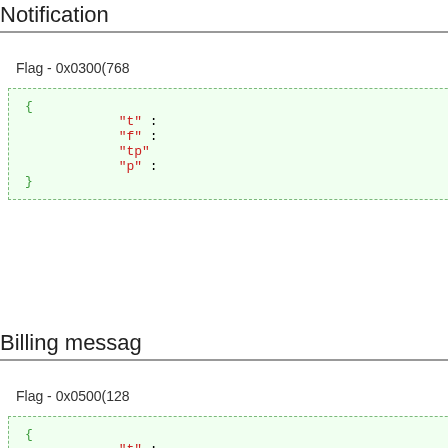Notification
Flag - 0x0300(768...
{
    "t" : ...
    "f" : ...
    "tp" : ...
    "p" : ...
}
Billing messag...
Flag - 0x0500(128...
{
    "t" : ...
    "f" : ...
    "tp" : ...
    "p" : ...
}
SMS for driver...